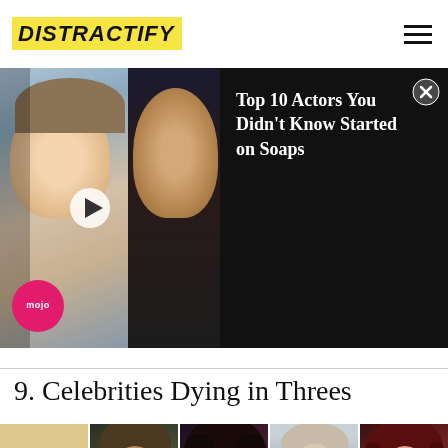DISTRACTIFY
[Figure (screenshot): Video ad banner showing two actor photos side by side with a play button, Mojo logo, and text: 'Top 10 Actors You Didn't Know Started on Soaps' with a close (X) button]
9. Celebrities Dying in Threes
[Figure (photo): Strip of five celebrity portrait photos: a blonde woman, a man with dark hair and sunglasses, a person with curly afro hair, a man with glasses, and a woman with dark red hair]